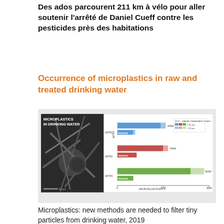Des ados parcourent 211 km à vélo pour aller soutenir l'arrêté de Daniel Cueff contre les pesticides près des habitations
Occurrence of microplastics in raw and treated drinking water
[Figure (other): Composite image showing a scanning electron microscope photo of microplastics on the left labeled 'MICROPLASTICS IN DRINKING WATER', and a horizontal stacked bar chart on the right showing microplastics concentrations (MICROPLASTICS L-1) for WTP1, WTP2, and WTP3, comparing RAW vs TREATED water, with two size categories: 1-10 µm (darker) and >10 µm (lighter). X-axis ranges from 0 to 4000.]
Microplastics: new methods are needed to filter tiny particles from drinking water, 2019